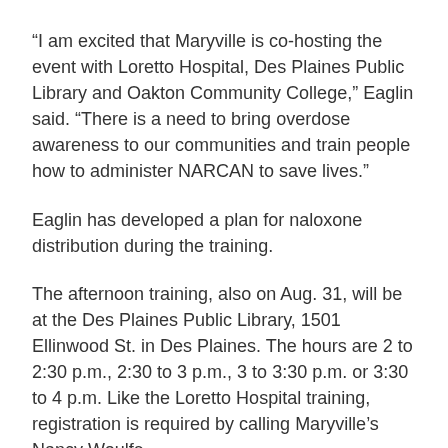“I am excited that Maryville is co-hosting the event with Loretto Hospital, Des Plaines Public Library and Oakton Community College,” Eaglin said. “There is a need to bring overdose awareness to our communities and train people how to administer NARCAN to save lives.”
Eaglin has developed a plan for naloxone distribution during the training.
The afternoon training, also on Aug. 31, will be at the Des Plaines Public Library, 1501 Ellinwood St. in Des Plaines. The hours are 2 to 2:30 p.m., 2:30 to 3 p.m., 3 to 3:30 p.m. or 3:30 to 4 p.m. Like the Loretto Hospital training, registration is required by calling Maryville’s Nancy Woulfe.